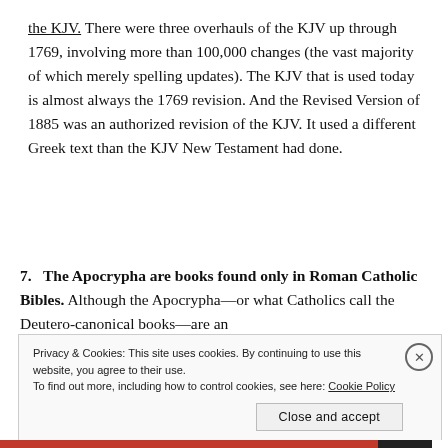the KJV. There were three overhauls of the KJV up through 1769, involving more than 100,000 changes (the vast majority of which merely spelling updates). The KJV that is used today is almost always the 1769 revision. And the Revised Version of 1885 was an authorized revision of the KJV. It used a different Greek text than the KJV New Testament had done.
7.  The Apocrypha are books found only in Roman Catholic Bibles. Although the Apocrypha—or what Catholics call the Deutero-canonical books—are an
Privacy & Cookies: This site uses cookies. By continuing to use this website, you agree to their use.
To find out more, including how to control cookies, see here: Cookie Policy
Close and accept